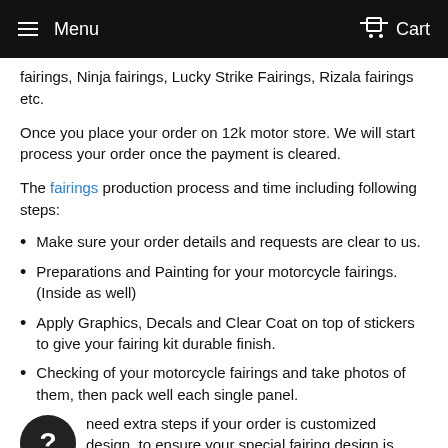Menu  Cart
fairings, Ninja fairings, Lucky Strike Fairings, Rizala fairings etc.
Once you place your order on 12k motor store. We will start process your order once the payment is cleared.
The fairings production process and time including following steps:
Make sure your order details and requests are clear to us.
Preparations and Painting for your motorcycle fairings. (Inside as well)
Apply Graphics, Decals and Clear Coat on top of stickers to give your fairing kit durable finish.
Checking of your motorcycle fairings and take photos of them, then pack well each single panel.
need extra steps if your order is customized design, to ensure your special fairing design is what you expected.